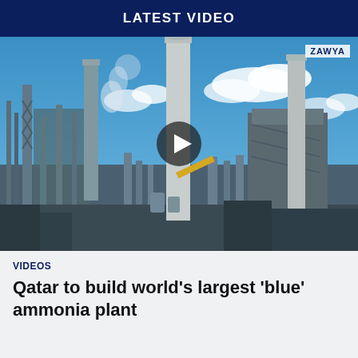LATEST VIDEO
[Figure (photo): Industrial chemical plant with tall chimneys/stacks against a blue sky with clouds, smoke visible from stacks. A play button overlay is centered on the image. Zawya logo visible in top-right corner.]
VIDEOS
Qatar to build world's largest 'blue' ammonia plant